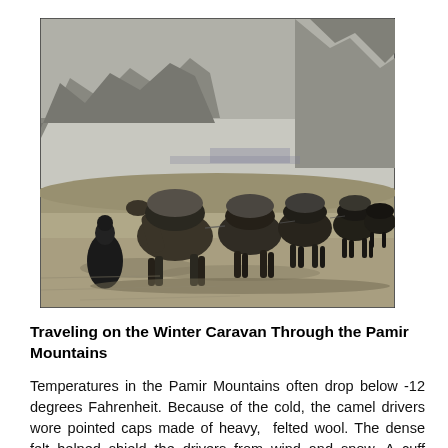[Figure (photo): Black and white photograph of a camel caravan traveling through a desert landscape with mountains in the background. A person in dark robes walks beside the camels, which are loaded with goods. The scene appears to be in Central Asia, likely the Pamir Mountains region.]
Traveling on the Winter Caravan Through the Pamir Mountains
Temperatures in the Pamir Mountains often drop below -12 degrees Fahrenheit. Because of the cold, the camel drivers wore pointed caps made of heavy,  felted wool. The dense felt helped shield the drivers from wind and snow. A cuff around the hat could be rolled down to